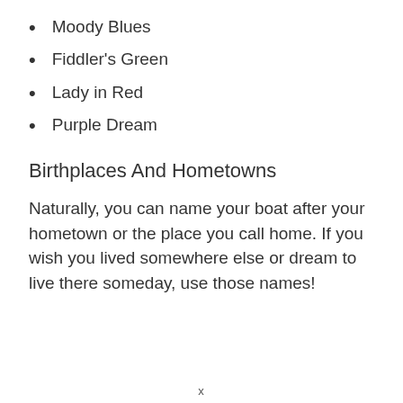Moody Blues
Fiddler's Green
Lady in Red
Purple Dream
Birthplaces And Hometowns
Naturally, you can name your boat after your hometown or the place you call home. If you wish you lived somewhere else or dream to live there someday, use those names!
x